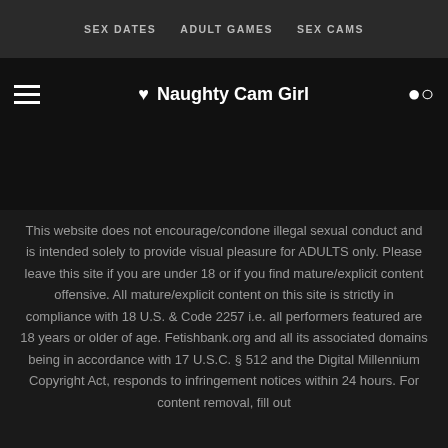SEX DATES   ADULT GAMES   SEX CAMS
♥ Naughty Cam Girl
This website does not encourage/condone illegal sexual conduct and is intended solely to provide visual pleasure for ADULTS only. Please leave this site if you are under 18 or if you find mature/explicit content offensive. All mature/explicit content on this site is strictly in compliance with 18 U.S. & Code 2257 i.e. all performers featured are 18 years or older of age. Fetishbank.org and all its associated domains being in accordance with 17 U.S.C. § 512 and the Digital Millennium Copyright Act, responds to infringement notices within 24 hours. For content removal, fill out